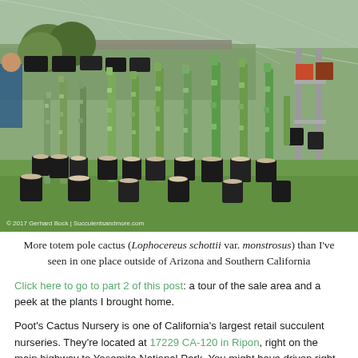[Figure (photo): Rows of totem pole cactus (Lophocereus schottii var. monstrosus) in black nursery pots on a grass surface inside a greenhouse/nursery. People visible in background among various succulents and cacti. Photo credit: © 2017 Gerhard Bock | Succulentsandmore.com]
More totem pole cactus (Lophocereus schottii var. monstrosus) than I've seen in one place outside of Arizona and Southern California
Click here to go to part 2 of this post: a tour of the sale area and a peek at the plants I brought home.
Poot's Cactus Nursery is one of California's largest retail succulent nurseries. They're located at 17229 CA-120 in Ripon, right on the main highway to Yosemite National Park. You might have driven right past